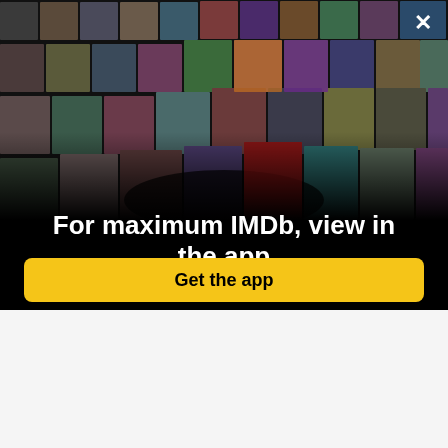[Figure (photo): Collage of IMDb actor headshots and movie poster thumbnails arranged in a perspective 3D grid on a dark background, forming the IMDb app promotional image.]
For maximum IMDb, view in the app
Get the app
Technical specs >
Runtime  1 hour 45 minutes